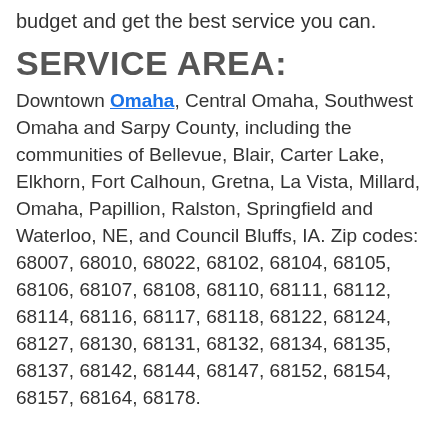budget and get the best service you can.
SERVICE AREA:
Downtown Omaha, Central Omaha, Southwest Omaha and Sarpy County, including the communities of Bellevue, Blair, Carter Lake, Elkhorn, Fort Calhoun, Gretna, La Vista, Millard, Omaha, Papillion, Ralston, Springfield and Waterloo, NE, and Council Bluffs, IA. Zip codes: 68007, 68010, 68022, 68102, 68104, 68105, 68106, 68107, 68108, 68110, 68111, 68112, 68114, 68116, 68117, 68118, 68122, 68124, 68127, 68130, 68131, 68132, 68134, 68135, 68137, 68142, 68144, 68147, 68152, 68154, 68157, 68164, 68178.